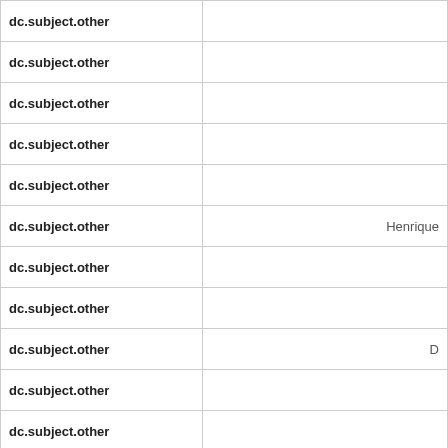| Field | Value |
| --- | --- |
| dc.subject.other |  |
| dc.subject.other |  |
| dc.subject.other |  |
| dc.subject.other |  |
| dc.subject.other |  |
| dc.subject.other | Henrique |
| dc.subject.other |  |
| dc.subject.other |  |
| dc.subject.other | D |
| dc.subject.other |  |
| dc.subject.other |  |
| dc.subject.other | Ha |
| dc.subject.other |  |
| dc.subject.other |  |